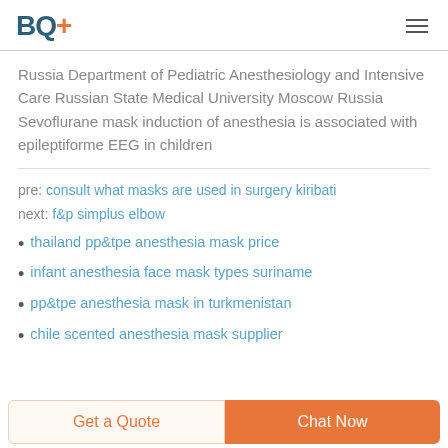BQ+
Russia Department of Pediatric Anesthesiology and Intensive Care Russian State Medical University Moscow Russia Sevoflurane mask induction of anesthesia is associated with epileptiforme EEG in children
pre: consult what masks are used in surgery kiribati
next: f&p simplus elbow
thailand pp&tpe anesthesia mask price
infant anesthesia face mask types suriname
pp&tpe anesthesia mask in turkmenistan
chile scented anesthesia mask supplier
Get a Quote   Chat Now